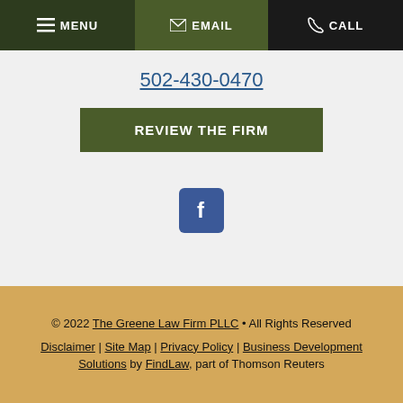MENU | EMAIL | CALL
502-430-0470
REVIEW THE FIRM
[Figure (illustration): Facebook icon button, square with rounded corners, dark blue background with white 'f' logo]
© 2022 The Greene Law Firm PLLC • All Rights Reserved
Disclaimer | Site Map | Privacy Policy | Business Development Solutions by FindLaw, part of Thomson Reuters